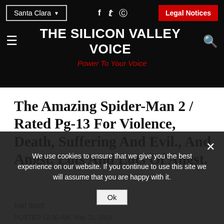Santa Clara | f | Twitter | Instagram | Legal Notices
THE SILICON VALLEY VOICE
Power To Your Voice
The Amazing Spider-Man 2 / Rated Pg-13 For Violence, Death, Suffering And Evil., And Angst. Lots And Lots Of Angst.
Karl Scott
POSTED 12:00 AM, May 21, 2014
We use cookies to ensure that we give you the best experience on our website. If you continue to use this site we will assume that you are happy with it.
Ok